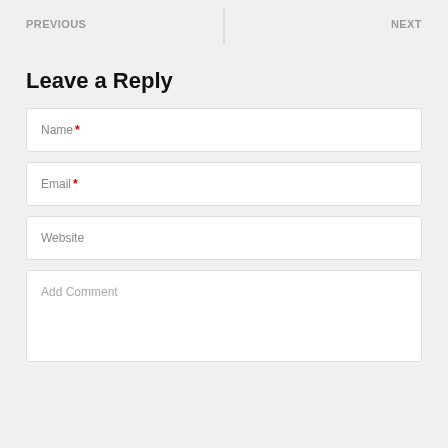PREVIOUS    NEXT
Leave a Reply
Name *
Email *
Website
Add Comment